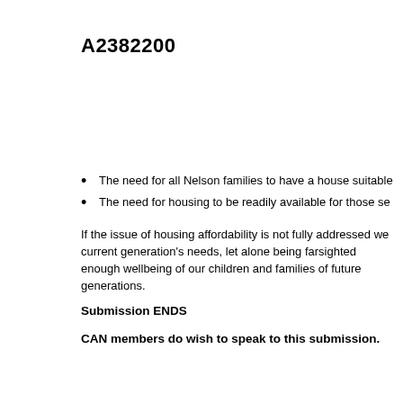A2382200
The need for all Nelson families to have a house suitable
The need for housing to be readily available for those se
If the issue of housing affordability is not fully addressed we current generation's needs, let alone being farsighted enough wellbeing of our children and families of future generations.
Submission ENDS
CAN members do wish to speak to this submission.